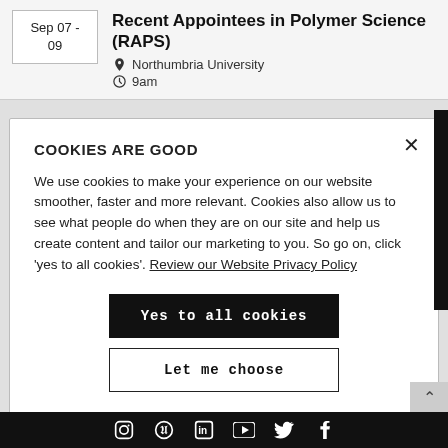Sep 07 - 09
Recent Appointees in Polymer Science (RAPS)
Northumbria University
9am
COOKIES ARE GOOD
We use cookies to make your experience on our website smoother, faster and more relevant. Cookies also allow us to see what people do when they are on our site and help us create content and tailor our marketing to you. So go on, click 'yes to all cookies'. Review our Website Privacy Policy
Yes to all cookies
Let me choose